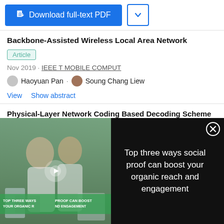[Figure (screenshot): Download full-text PDF button (blue) and chevron dropdown button]
Backbone-Assisted Wireless Local Area Network
Article
Nov 2019 · IEEE T MOBILE COMPUT
Haoyuan Pan · Soung Chang Liew
View   Show abstract
Physical-Layer Network Coding Based Decoding Scheme
[Figure (screenshot): Video advertisement overlay showing lab scientists with text 'Top three ways social proof can boost your organic reach and engagement']
[Figure (screenshot): ThermoFisher Scientific advertisement with device image and text 'Empowering life science researchers']